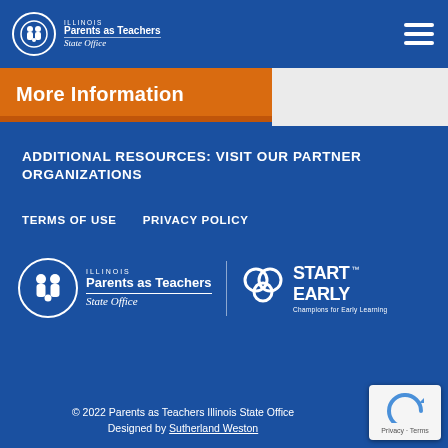[Figure (logo): Illinois Parents as Teachers State Office logo in top navigation bar]
More Information
ADDITIONAL RESOURCES: VISIT OUR PARTNER ORGANIZATIONS
TERMS OF USE   PRIVACY POLICY
[Figure (logo): Illinois Parents as Teachers State Office large logo and Start Early Champions for Early Learning logo]
© 2022 Parents as Teachers Illinois State Office
Designed by Sutherland Weston
[Figure (other): reCAPTCHA privacy badge with Privacy - Terms text]